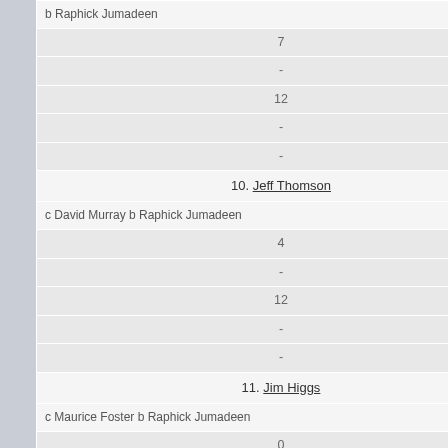| b Raphick Jumadeen |
| 7 |
| - |
| 12 |
| - |
| - |
| 10. Jeff Thomson |
| c David Murray b Raphick Jumadeen |
| 4 |
| - |
| 12 |
| - |
| - |
| 11. Jim Higgs |
| c Maurice Foster b Raphick Jumadeen |
| 0 |
| - |
| 3 |
| - |